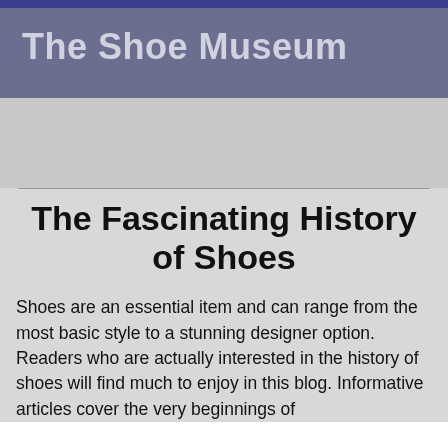The Shoe Museum
The Fascinating History of Shoes
Shoes are an essential item and can range from the most basic style to a stunning designer option. Readers who are actually interested in the history of shoes will find much to enjoy in this blog. Informative articles cover the very beginnings of